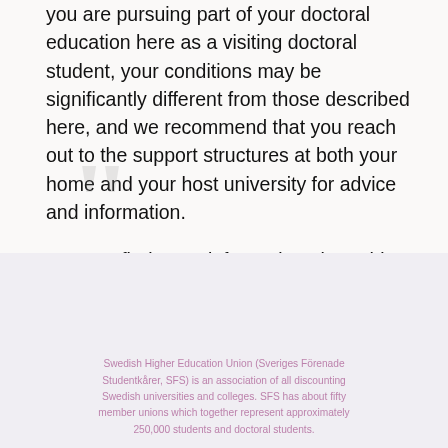you are pursuing part of your doctoral education here as a visiting doctoral student, your conditions may be significantly different from those described here, and we recommend that you reach out to the support structures at both your home and your host university for advice and information.
You can find more information about this project here, and about when and how to contact us here.
[Figure (logo): Stylized quotation mark logo watermark in light gray]
Swedish Higher Education Union (Sveriges Förenade Studentkårer, SFS) is an association of all discounting Swedish universities and colleges. SFS has about fifty member unions which together represent approximately 250,000 students and doctoral students.